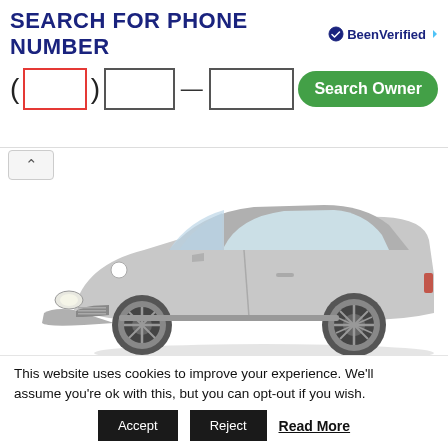[Figure (screenshot): BeenVerified phone number search ad banner with title 'SEARCH FOR PHONE NUMBER', three phone input fields (area code, prefix, number), and a green 'Search Owner' button. BeenVerified logo in top right.]
[Figure (photo): Silver BMW M3 E46 coupe shown from a 3/4 front-left angle on white background]
Attention! Clicking on the link “download” you agree, after reading, delete the downloaded file from your computer. All content on the site Carmanualsclub.com is taken from free sources and is also freely
This website uses cookies to improve your experience. We’ll assume you’re ok with this, but you can opt-out if you wish.
Accept   Reject   Read More